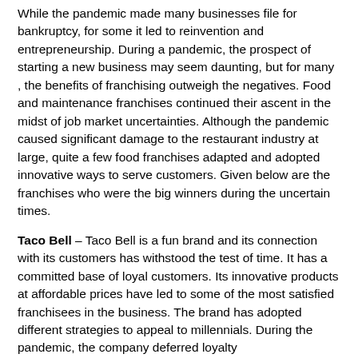While the pandemic made many businesses file for bankruptcy, for some it led to reinvention and entrepreneurship. During a pandemic, the prospect of starting a new business may seem daunting, but for many , the benefits of franchising outweigh the negatives. Food and maintenance franchises continued their ascent in the midst of job market uncertainties. Although the pandemic caused significant damage to the restaurant industry at large, quite a few food franchises adapted and adopted innovative ways to serve customers. Given below are the franchises who were the big winners during the uncertain times.
Taco Bell – Taco Bell is a fun brand and its connection with its customers has withstood the test of time. It has a committed base of loyal customers. Its innovative products at affordable prices have led to some of the most satisfied franchisees in the business. The brand has adopted different strategies to appeal to millennials. During the pandemic, the company deferred loyalty